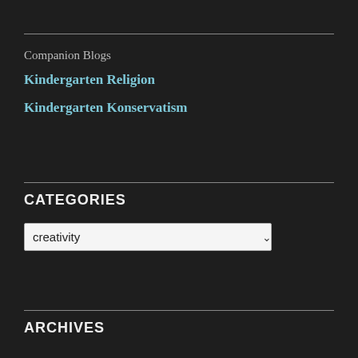Companion Blogs
Kindergarten Religion
Kindergarten Konservatism
CATEGORIES
creativity
ARCHIVES